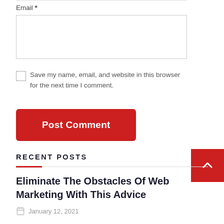Email *
Save my name, email, and website in this browser for the next time I comment.
Post Comment
RECENT POSTS
Eliminate The Obstacles Of Web Marketing With This Advice
January 12, 2021